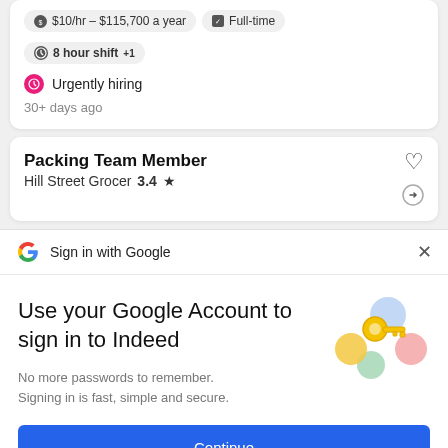8 hour shift +1
Urgently hiring
30+ days ago
Packing Team Member
Hill Street Grocer  3.4 ★
Sign in with Google
Use your Google Account to sign in to Indeed
No more passwords to remember. Signing in is fast, simple and secure.
[Figure (illustration): Google sign-in illustration with a golden key and colorful circular shapes]
Continue